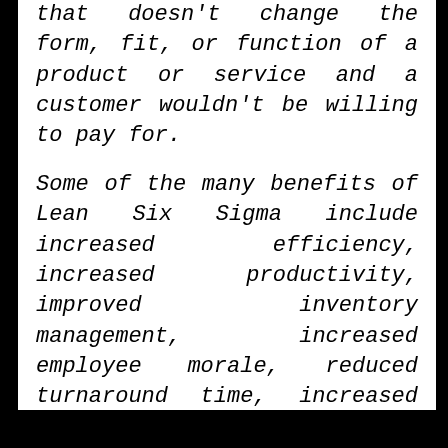that doesn't change the form, fit, or function of a product or service and a customer wouldn't be willing to pay for.
Some of the many benefits of Lean Six Sigma include increased efficiency, increased productivity, improved inventory management, increased employee morale, reduced turnaround time, increased customer service and satisfaction, Improved profitability